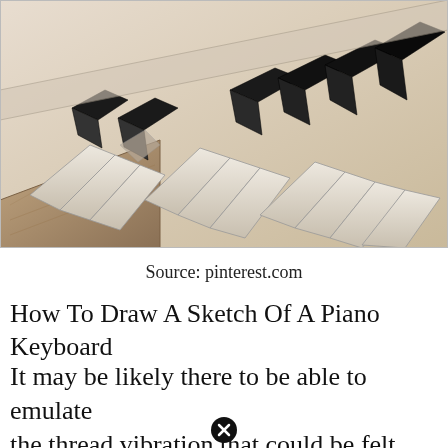[Figure (illustration): Pencil sketch drawing of a piano keyboard viewed from a low perspective angle, showing white and black keys with shading and wood grain texture details.]
Source: pinterest.com
How To Draw A Sketch Of A Piano Keyboard
It may be likely there to be able to emulate the thread vibration that could be felt through the keys...